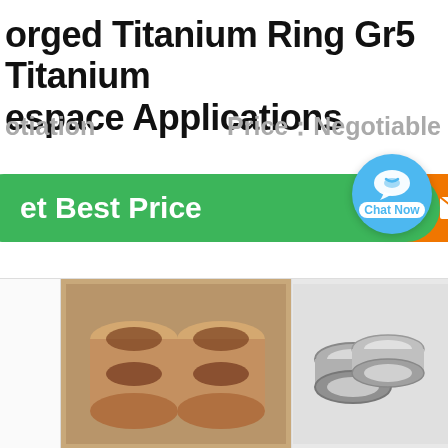orged Titanium Ring Gr5 Titanium espace Applications
otiation   Price：Negotiable
et Best Price   Contact
[Figure (photo): Photo of multiple titanium rings/cylinders stacked, brownish metallic color]
[Figure (photo): Photo of titanium rings/spacers, silver metallic, multiple pieces]